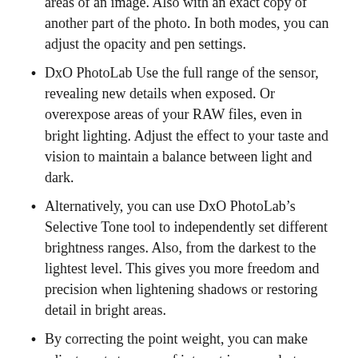areas of an image. Also with an exact copy of another part of the photo. In both modes, you can adjust the opacity and pen settings.
DxO PhotoLab Use the full range of the sensor, revealing new details when exposed. Or overexpose areas of your RAW files, even in bright lighting. Adjust the effect to your taste and vision to maintain a balance between light and dark.
Alternatively, you can use DxO PhotoLab’s Selective Tone tool to independently set different brightness ranges. Also, from the darkest to the lightest level. This gives you more freedom and precision when lightening shadows or restoring detail in bright areas.
By correcting the point weight, you can make adjustments to areas of interest in your photos, such as B. Faces.
The DxO PhotoLab registration code provides